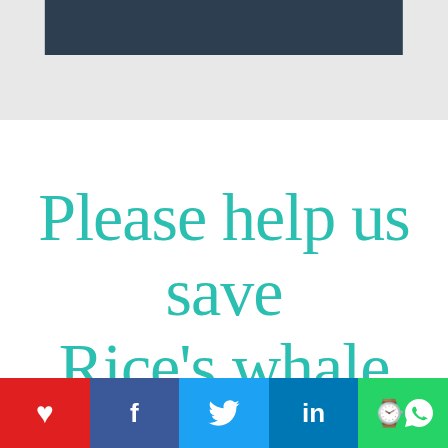[Figure (other): Dark navy/teal rectangular banner bar against a light grey background at the top of the page]
Please help us save Rice's whale
By adopting a whale or dolphin, by
[Figure (other): Social sharing bar with 5 buttons: heart/like (red), Facebook (dark blue), Twitter (light blue), LinkedIn (blue), WhatsApp (green)]